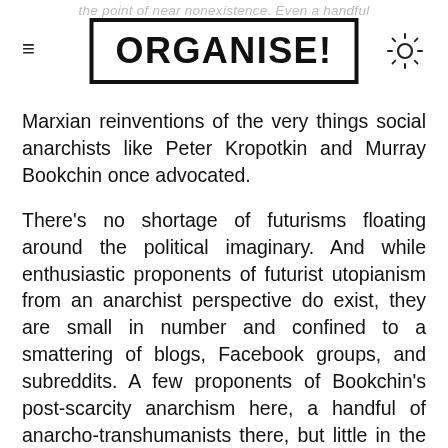ORGANISE!
Marxian reinventions of the very things social anarchists like Peter Kropotkin and Murray Bookchin once advocated.
There's no shortage of futurisms floating around the political imaginary. And while enthusiastic proponents of futurist utopianism from an anarchist perspective do exist, they are small in number and confined to a smattering of blogs, Facebook groups, and subreddits. A few proponents of Bookchin's post-scarcity anarchism here, a handful of anarcho-transhumanists there, but little in the way of overarching vision to tie them together and draw